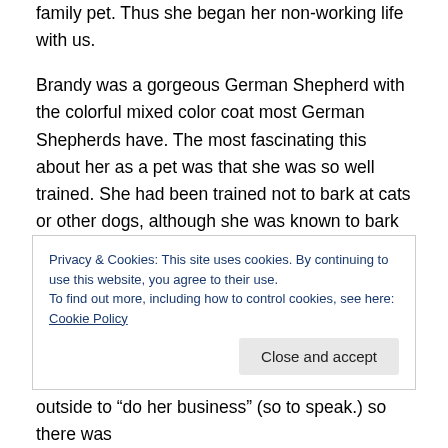family pet.  Thus she began her non-working life with us.
Brandy was a gorgeous German Shepherd with the colorful mixed color coat most German Shepherds have.  The most fascinating this about her as a pet was that she was so well trained.  She had been trained not to bark at cats or other dogs, although she was known to bark to announce the arrival of our son, Steven for some odd reason.  He liked to work with snakes and reptiles, so maybe in the guide school in which she had been trained such species had not been included in her training.  (After
Privacy & Cookies: This site uses cookies. By continuing to use this website, you agree to their use.
To find out more, including how to control cookies, see here: Cookie Policy
outside to “do her business” (so to speak.) so there was